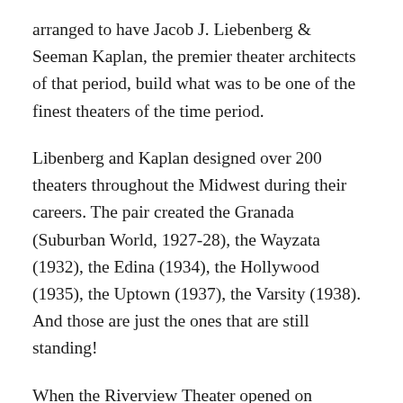arranged to have Jacob J. Liebenberg & Seeman Kaplan, the premier theater architects of that period, build what was to be one of the finest theaters of the time period.
Libenberg and Kaplan designed over 200 theaters throughout the Midwest during their careers. The pair created the Granada (Suburban World, 1927-28), the Wayzata (1932), the Edina (1934), the Hollywood (1935), the Uptown (1937), the Varsity (1938). And those are just the ones that are still standing!
When the Riverview Theater opened on December 30, 1948, it was such a notable event that the story was featured in national publications. The first movie shown to an audience there was June Bride, starring Bette Davis and Robert Montgomery.